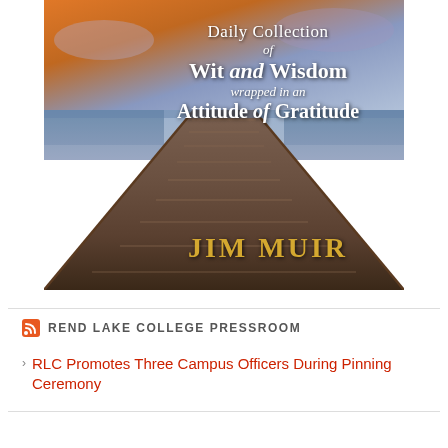[Figure (illustration): Book cover showing a wooden dock/pier extending into water with a dramatic sky, title text 'Daily Collection of Wit and Wisdom wrapped in an Attitude of Gratitude' by Jim Muir]
REND LAKE COLLEGE PRESSROOM
RLC Promotes Three Campus Officers During Pinning Ceremony